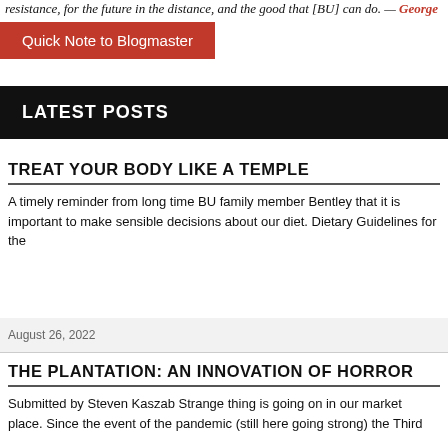resistance, for the future in the distance, and the good that [BU] can do. — George Linnaeus Banks
Quick Note to Blogmaster
LATEST POSTS
TREAT YOUR BODY LIKE A TEMPLE
A timely reminder from long time BU family member Bentley that it is important to make sensible decisions about our diet. Dietary Guidelines for the
August 26, 2022
THE PLANTATION: AN INNOVATION OF HORROR
Submitted by Steven Kaszab Strange thing is going on in our market place. Since the event of the pandemic (still here going strong) the Third